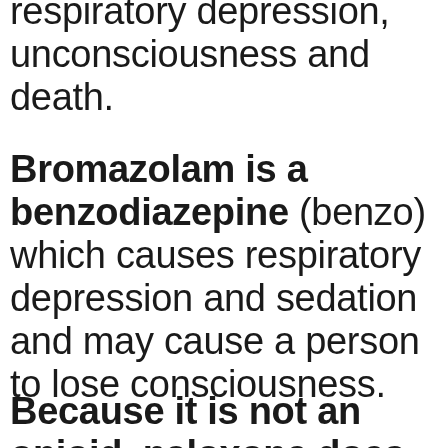respiratory depression, unconsciousness and death.
Bromazolam is a benzodiazepine (benzo) which causes respiratory depression and sedation and may cause a person to lose consciousness.
Because it is not an opioid, naloxone does